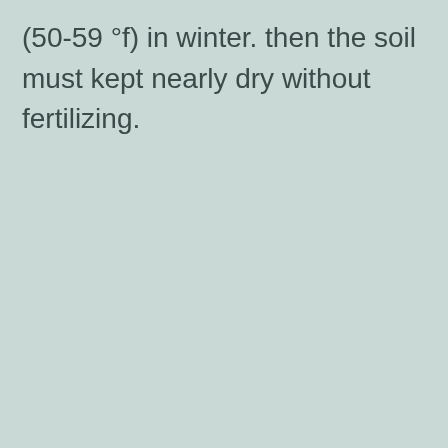(50-59 °f) in winter. then the soil must kept nearly dry without fertilizing.